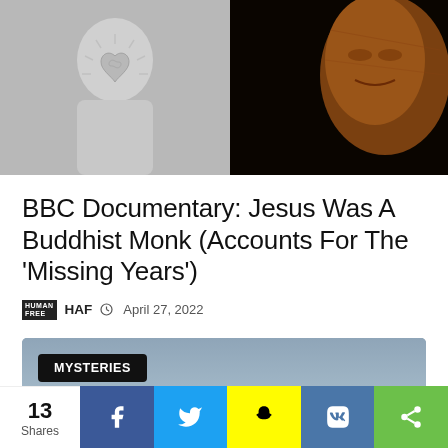[Figure (photo): Split hero image: left side shows a white stone statue with a sacred heart and radiating design, right side shows a close-up of a golden/bronze Buddha statue face against black background]
BBC Documentary: Jesus Was A Buddhist Monk (Accounts For The ‘Missing Years’)
HAF © April 27, 2022
[Figure (photo): Misty blue-grey sky/ocean landscape with a black rounded rectangle badge reading MYSTERIES in the upper left corner]
13 Shares